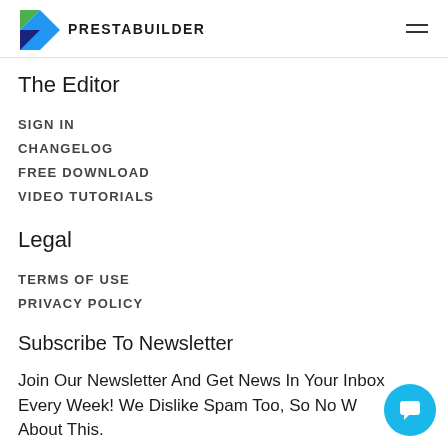PRESTABUILDER
The Editor
SIGN IN
CHANGELOG
FREE DOWNLOAD
VIDEO TUTORIALS
Legal
TERMS OF USE
PRIVACY POLICY
Subscribe To Newsletter
Join Our Newsletter And Get News In Your Inbox Every Week! We Dislike Spam Too, So No Worries About This.